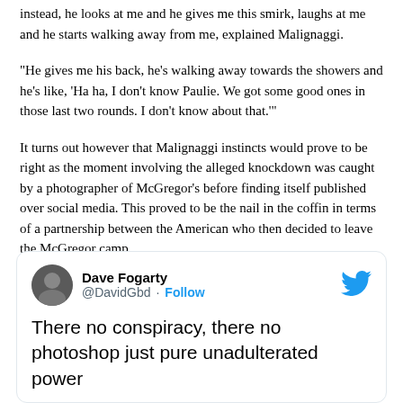instead, he looks at me and he gives me this smirk, laughs at me and he starts walking away from me, explained Malignaggi.
“He gives me his back, he’s walking away towards the showers and he’s like, ‘Ha ha, I don’t know Paulie. We got some good ones in those last two rounds. I don’t know about that.’”
It turns out however that Malignaggi instincts would prove to be right as the moment involving the alleged knockdown was caught by a photographer of McGregor’s before finding itself published over social media. This proved to be the nail in the coffin in terms of a partnership between the American who then decided to leave the McGregor camp.
[Figure (screenshot): Tweet from Dave Fogarty (@DavidGbd) with Follow button and Twitter bird icon. Tweet text: 'There no conspiracy, there no photoshop just pure unadulterated power']